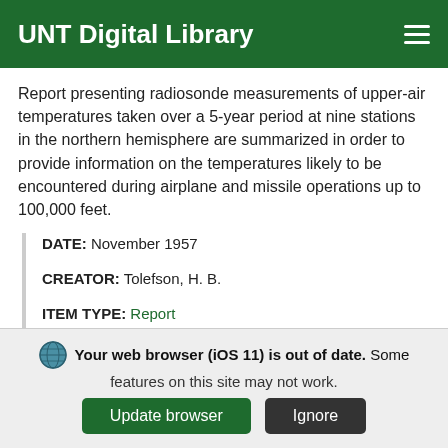UNT Digital Library
Report presenting radiosonde measurements of upper-air temperatures taken over a 5-year period at nine stations in the northern hemisphere are summarized in order to provide information on the temperatures likely to be encountered during airplane and missile operations up to 100,000 feet.
DATE: November 1957
CREATOR: Tolefson, H. B.
ITEM TYPE: Report
PARTNER: UNT Libraries Government Documents Department
Your web browser (iOS 11) is out of date. Some features on this site may not work.